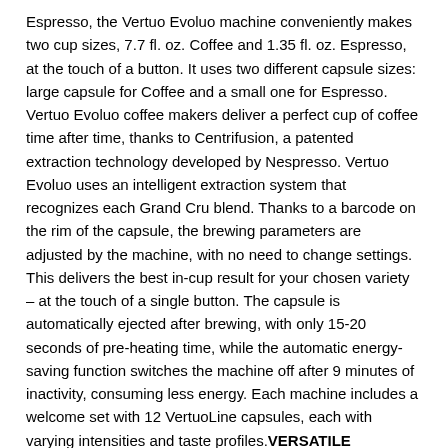Espresso, the Vertuo Evoluo machine conveniently makes two cup sizes, 7.7 fl. oz. Coffee and 1.35 fl. oz. Espresso, at the touch of a button. It uses two different capsule sizes: large capsule for Coffee and a small one for Espresso. Vertuo Evoluo coffee makers deliver a perfect cup of coffee time after time, thanks to Centrifusion, a patented extraction technology developed by Nespresso. Vertuo Evoluo uses an intelligent extraction system that recognizes each Grand Cru blend. Thanks to a barcode on the rim of the capsule, the brewing parameters are adjusted by the machine, with no need to change settings. This delivers the best in-cup result for your chosen variety – at the touch of a single button. The capsule is automatically ejected after brewing, with only 15-20 seconds of pre-heating time, while the automatic energy-saving function switches the machine off after 9 minutes of inactivity, consuming less energy. Each machine includes a welcome set with 12 VertuoLine capsules, each with varying intensities and taste profiles.VERSATILE AUTOMATIC COFFEE MAKER: Brew different single-serve Coffee cup sizes at the touch of a button depending on your Coffee needs – Espresso (1.35 oz.), Double Espresso (2.7 oz.), Gran Lungo (5 oz.), Coffee (7.7 oz.) and Alto (14 oz.). Pour over ice to create your favorite iced Coffee drinks. Designed for use with Nespresso Vertuo capsules
SMART COFFEE MAKER: Brew the perfect single-serve Coffee or Espresso drink